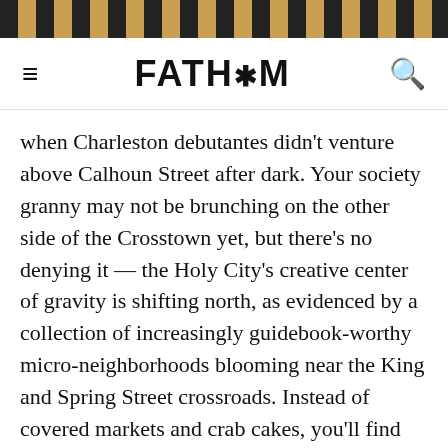FATH*M
when Charleston debutantes didn't venture above Calhoun Street after dark. Your society granny may not be brunching on the other side of the Crosstown yet, but there's no denying it — the Holy City's creative center of gravity is shifting north, as evidenced by a collection of increasingly guidebook-worthy micro-neighborhoods blooming near the King and Spring Street crossroads. Instead of covered markets and crab cakes, you'll find maverick letterpress studios, small-batch distilleries, selvedge denim purveyors, bakery happy hours, and more than a handful of restaurants